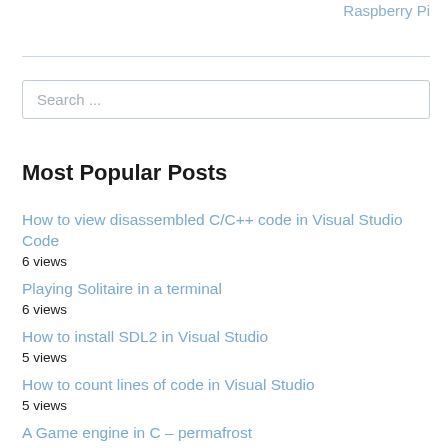Raspberry Pi
Search ...
Most Popular Posts
How to view disassembled C/C++ code in Visual Studio Code
6 views
Playing Solitaire in a terminal
6 views
How to install SDL2 in Visual Studio
5 views
How to count lines of code in Visual Studio
5 views
A Game engine in C – permafrost
4 views